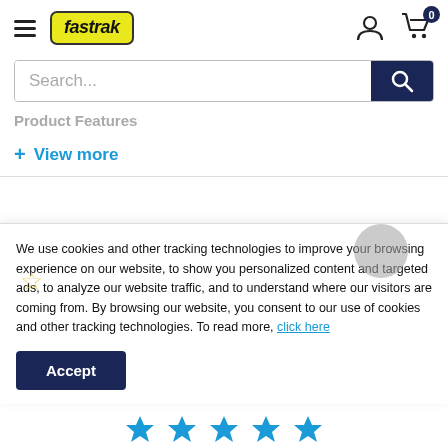[Figure (logo): Fastrak logo with yellow background and italic bold text]
[Figure (screenshot): Search bar with placeholder text 'Search...' and dark blue search button with magnifying glass icon]
Product Features
+ View more
[Figure (screenshot): Compare button showing a grid icon with (0) count]
We use cookies and other tracking technologies to improve your browsing experience on our website, to show you personalized content and targeted ads, to analyze our website traffic, and to understand where our visitors are coming from. By browsing our website, you consent to our use of cookies and other tracking technologies. To read more, click here
Accept
[Figure (screenshot): Five blue star rating icons at the bottom of the page]